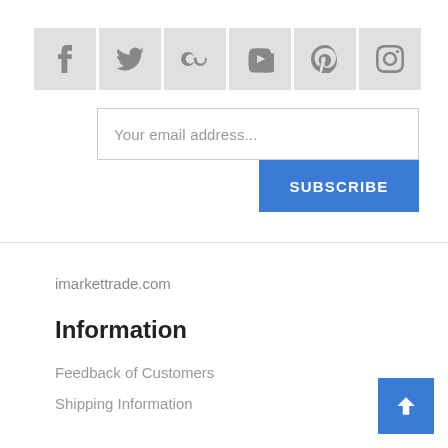[Figure (other): Social media icon buttons: Facebook, Twitter, Google+, YouTube, Pinterest, Instagram]
[Figure (other): Email subscription input box with placeholder 'Your email address...' and a blue SUBSCRIBE button]
imarkettrade.com
Information
Feedback of Customers
Shipping Information